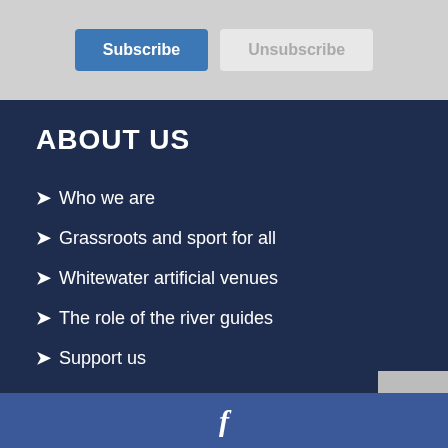[Figure (screenshot): Subscribe and Unsubscribe buttons on a light gray background]
ABOUT US
Who we are
Grassroots and sport for all
Whitewater artificial venues
The role of the river guides
Support us
f (Facebook icon)